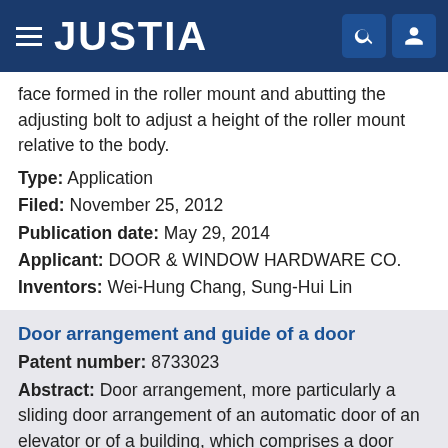JUSTIA
face formed in the roller mount and abutting the adjusting bolt to adjust a height of the roller mount relative to the body.
Type: Application
Filed: November 25, 2012
Publication date: May 29, 2014
Applicant: DOOR & WINDOW HARDWARE CO.
Inventors: Wei-Hung Chang, Sung-Hui Lin
Door arrangement and guide of a door
Patent number: 8733023
Abstract: Door arrangement, more particularly a sliding door arrangement of an automatic door of an elevator or of a building, which comprises a door panel, and a guide arrangement for controlling the path of movement of the door panel, which guide arrangement comprises at least one guide connected to the